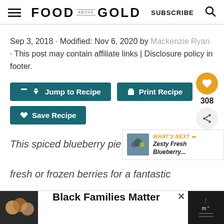FOOD ABOVE GOLD | SUBSCRIBE
Sep 3, 2018 · Modified: Nov 6, 2020 by Mackenzie Ryan · This post may contain affiliate links | Disclosure policy in footer.
Jump to Recipe | Print Recipe | Save Recipe
This spiced blueberry pie recipe uses fresh or frozen berries for a fantastic
[Figure (screenshot): Ad banner: Black Families Matter]
[Figure (photo): What's Next thumbnail - Zesty Fresh Blueberry...]